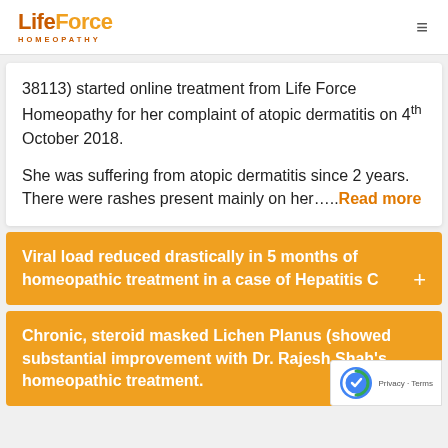Life Force Homeopathy
38113) started online treatment from Life Force Homeopathy for her complaint of atopic dermatitis on 4th October 2018.

She was suffering from atopic dermatitis since 2 years. There were rashes present mainly on her.....Read more
Viral load reduced drastically in 5 months of homeopathic treatment in a case of Hepatitis C
Chronic, steroid masked Lichen Planus (showed substantial improvement with Dr. Rajesh Shah's homeopathic treatment.